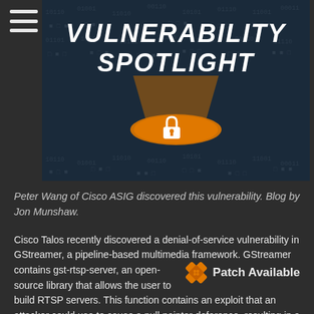[Figure (illustration): Vulnerability Spotlight banner with dark background, illuminated padlock icon with an orange spotlight, bold white italic text reading VULNERABILITY SPOTLIGHT]
Peter Wang of Cisco ASIG discovered this vulnerability. Blog by Jon Munshaw.
Cisco Talos recently discovered a denial-of-service vulnerability in GStreamer, a pipeline-based multimedia framework. GStreamer contains gst-rtsp-server, an open-source library that allows the user to build RTSP servers. This function contains an exploit that an attacker could use to cause a null pointer deference, resulting in a
[Figure (infographic): Orange bandage/patch cross icon next to bold text reading Patch Available]